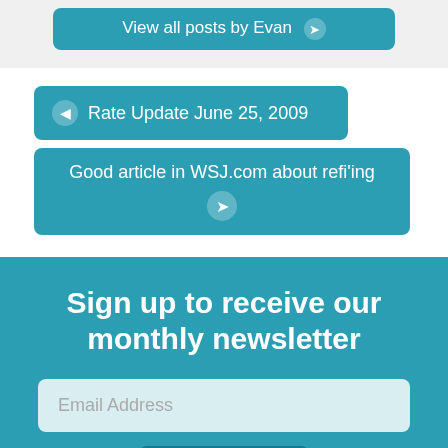View all posts by Evan →
← Rate Update June 25, 2009
Good article in WSJ.com about refi'ing →
Sign up to receive our monthly newsletter
Email Address